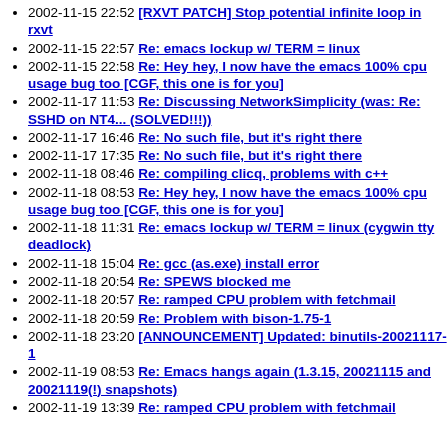2002-11-15 22:52 [RXVT PATCH] Stop potential infinite loop in rxvt
2002-11-15 22:57 Re: emacs lockup w/ TERM = linux
2002-11-15 22:58 Re: Hey hey, I now have the emacs 100% cpu usage bug too [CGF, this one is for you]
2002-11-17 11:53 Re: Discussing NetworkSimplicity (was: Re: SSHD on NT4... (SOLVED!!!))
2002-11-17 16:46 Re: No such file, but it's right there
2002-11-17 17:35 Re: No such file, but it's right there
2002-11-18 08:46 Re: compiling clicq, problems with c++
2002-11-18 08:53 Re: Hey hey, I now have the emacs 100% cpu usage bug too [CGF, this one is for you]
2002-11-18 11:31 Re: emacs lockup w/ TERM = linux (cygwin tty deadlock)
2002-11-18 15:04 Re: gcc (as.exe) install error
2002-11-18 20:54 Re: SPEWS blocked me
2002-11-18 20:57 Re: ramped CPU problem with fetchmail
2002-11-18 20:59 Re: Problem with bison-1.75-1
2002-11-18 23:20 [ANNOUNCEMENT] Updated: binutils-20021117-1
2002-11-19 08:53 Re: Emacs hangs again (1.3.15, 20021115 and 20021119(!) snapshots)
2002-11-19 13:39 Re: ramped CPU problem with fetchmail